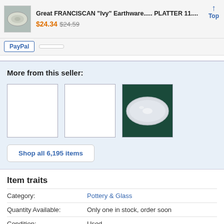Great FRANCISCAN "Ivy" Earthware..... PLATTER 11.... $24.34 $24.59 Top
[Figure (photo): Small thumbnail of a plate with green ivy pattern on white background]
PayPal
More from this seller:
[Figure (photo): Three product image boxes; first two are empty white boxes, third shows a white oval platter on dark green background]
Shop all 6,195 items
Item traits
| Trait | Value |
| --- | --- |
| Category: | Pottery & Glass |
| Quantity Available: | Only one in stock, order soon |
| Condition: | Used |